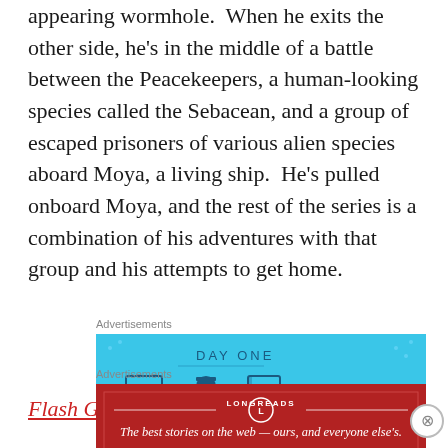appearing wormhole.  When he exits the other side, he's in the middle of a battle between the Peacekeepers, a human-looking species called the Sebacean, and a group of escaped prisoners of various alien species aboard Moya, a living ship.  He's pulled onboard Moya, and the rest of the series is a combination of his adventures with that group and his attempts to get home.
[Figure (other): Advertisement banner: DAY ONE - The only journaling app you'll ever need. Blue background with illustrated icons of a door, person, and notebook.]
Flash Gordon's story is
[Figure (other): Advertisement banner: LONGREADS - The best stories on the web — ours, and everyone else's. Dark red background with white text and Longreads logo.]